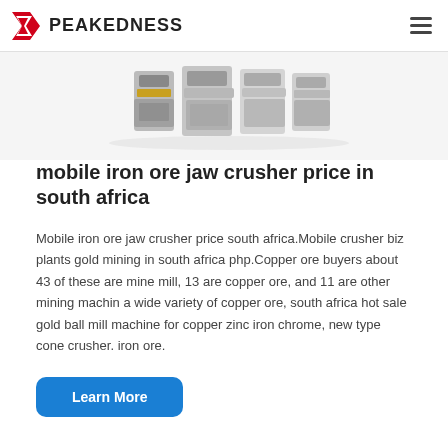PEAKEDNESS
[Figure (photo): Industrial mining machinery equipment photo — jaw crushers and ore processing machines shown partially cropped]
mobile iron ore jaw crusher price in south africa
Mobile iron ore jaw crusher price south africa.Mobile crusher biz plants gold mining in south africa php.Copper ore buyers about 43 of these are mine mill, 13 are copper ore, and 11 are other mining machin a wide variety of copper ore, south africa hot sale gold ball mill machine for copper zinc iron chrome, new type cone crusher. iron ore.
Learn More